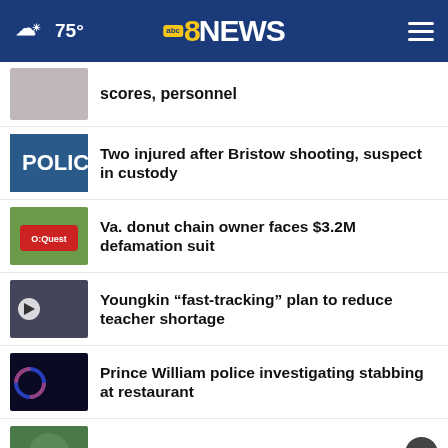75° abc8NEWS
scores, personnel
Two injured after Bristow shooting, suspect in custody
Va. donut chain owner faces $3.2M defamation suit
Youngkin “fast-tracking” plan to reduce teacher shortage
Prince William police investigating stabbing at restaurant
Henrico to make improvements to
[Figure (screenshot): DISCOVER the FOREST .org advertisement banner with ad council and US Forest Service logos]